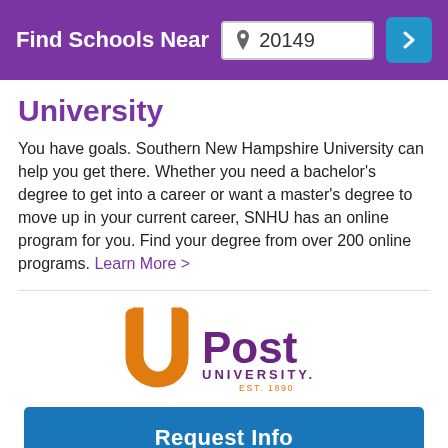Find Schools Near 20149
University
You have goals. Southern New Hampshire University can help you get there. Whether you need a bachelor's degree to get into a career or want a master's degree to move up in your current career, SNHU has an online program for you. Find your degree from over 200 online programs. Learn More >
[Figure (logo): Post University logo with orange and purple U symbol, 'Post UNIVERSITY. EST. 1890' text]
Request Info
Post University Online